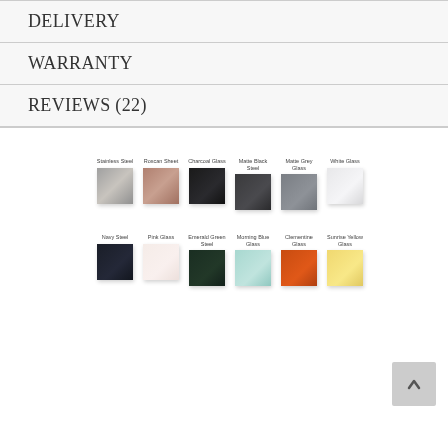DELIVERY
WARRANTY
REVIEWS (22)
[Figure (illustration): Color swatch grid showing 12 finish options: Row 1: Stainless Steel (grey metallic), Roscan Sheet (rose/brown metallic), Charcoal Glass (near black glossy), Matte Black Steel (dark grey), Matte Grey Glass (medium grey), White Glass (light grey/white). Row 2: Navy Steel (near black navy), Pink Glass (very pale pink), Emerald Green Steel (dark green), Morning Blue Glass (light teal), Clementine Glass (orange), Sunrise Yellow Glass (pale yellow).]